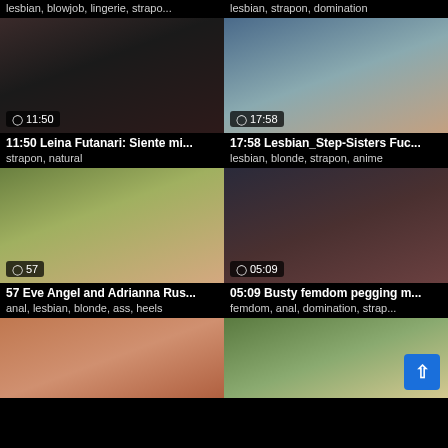lesbian, blowjob, lingerie, strapo...
lesbian, strapon, domination
[Figure (photo): Video thumbnail with duration badge 11:50, woman in black lingerie]
[Figure (photo): Video thumbnail with duration badge 17:58, two women, anime style]
11:50 Leina Futanari: Siente mi...
17:58 Lesbian_Step-Sisters Fuc...
strapon, natural
lesbian, blonde, strapon, anime
[Figure (photo): Video thumbnail with duration badge 57, outdoor scene with blonde woman]
[Figure (photo): Video thumbnail with duration badge 05:09, femdom scene with multiple people]
57 Eve Angel and Adrianna Rus...
05:09 Busty femdom pegging m...
anal, lesbian, blonde, ass, heels
femdom, anal, domination, strap...
[Figure (photo): Partial video thumbnail, bottom row left]
[Figure (photo): Partial video thumbnail, bottom row right, with back-to-top button]